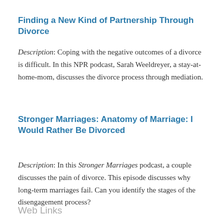Finding a New Kind of Partnership Through Divorce
Description: Coping with the negative outcomes of a divorce is difficult. In this NPR podcast, Sarah Weeldreyer, a stay-at-home-mom, discusses the divorce process through mediation.
Stronger Marriages: Anatomy of Marriage: I Would Rather Be Divorced
Description: In this Stronger Marriages podcast, a couple discusses the pain of divorce. This episode discusses why long-term marriages fail. Can you identify the stages of the disengagement process?
Web Links